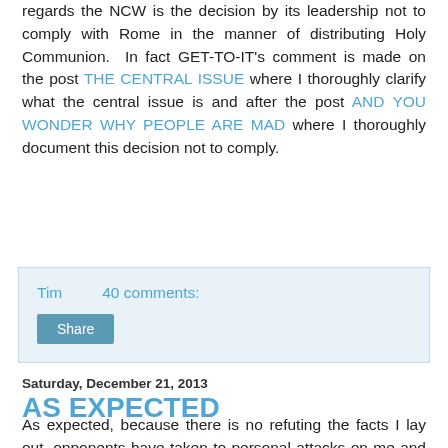regards the NCW is the decision by its leadership not to comply with Rome in the manner of distributing Holy Communion. In fact GET-TO-IT's comment is made on the post THE CENTRAL ISSUE where I thoroughly clarify what the central issue is and after the post AND YOU WONDER WHY PEOPLE ARE MAD where I thoroughly document this decision not to comply.
Tim    40 comments:
Share
Saturday, December 21, 2013
AS EXPECTED
As expected, because there is no refuting the facts I lay out, opponents have taken to personal attacks on me and my motives. The typical theme they choose is traditionalists against the NCW. This is some serious grasping. You will not see anywhere in this discussion any encouragement to